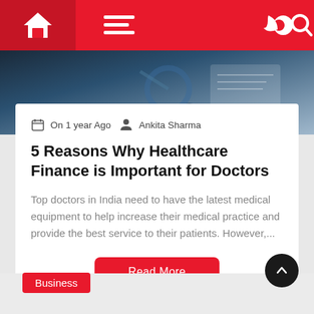[Figure (screenshot): Red navigation bar with home icon, hamburger menu icon, moon/dark mode icon, and search icon on white background]
[Figure (photo): Medical themed hero image showing stethoscope and medical equipment with dark blue tones]
On 1 year Ago   Ankita Sharma
5 Reasons Why Healthcare Finance is Important for Doctors
Top doctors in India need to have the latest medical equipment to help increase their medical practice and provide the best service to their patients. However,...
Read More
Business